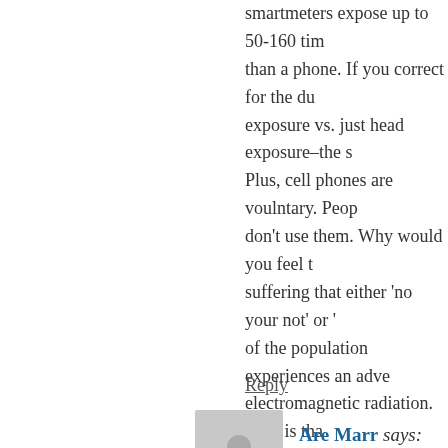smartmeters expose up to 50-160 times than a phone. If you correct for the duration, exposure vs. just head exposure–the s Plus, cell phones are voulntary. Peop don't use them. Why would you feel suffering that either 'no your not' or of the population experiences an adve electromagnetic radiation. Why is tha of gadgets in my home but after movi smartmeters, I have had to discontinu before with this. Now I do. I can't exp and really destroys peoples lives. Wh suffering untold pain. Why not try to difficult situation evern harder? Why
Reply
Are Marr says:
August 1, 2013 at 1:16 pm